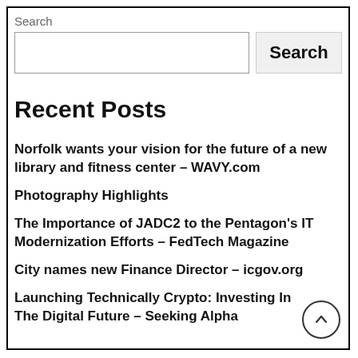Search
Search [input box and button]
Recent Posts
Norfolk wants your vision for the future of a new library and fitness center – WAVY.com
Photography Highlights
The Importance of JADC2 to the Pentagon's IT Modernization Efforts – FedTech Magazine
City names new Finance Director – icgov.org
Launching Technically Crypto: Investing In The Digital Future – Seeking Alpha